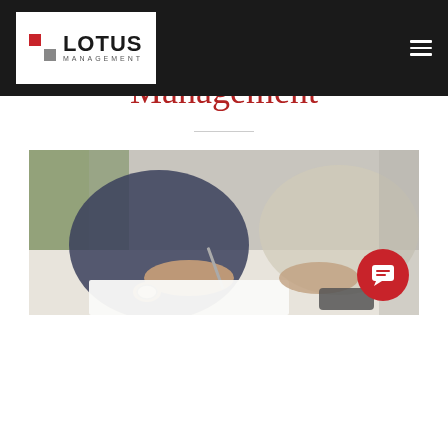[Figure (logo): Lotus Management logo: white box with red and gray squares icon on left, LOTUS text in bold black and MANAGEMENT in small caps below, on dark/black navigation bar with hamburger menu icon on right]
What's New at LOTUS Management
[Figure (photo): A person writing on paper with a pen, wearing a watch, another person visible in background, business/office setting, blurred background with green plant]